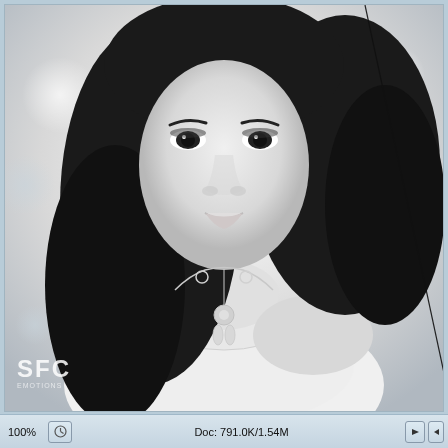[Figure (screenshot): Photoshop screenshot showing a black and white portrait photo of a young woman with long dark hair wearing a white strapless top and a pendant necklace. A diagonal crop/transform line runs from upper center to lower right. The image has a bokeh background. A watermark 'SFC' appears in the lower left of the photo. The status bar at the bottom shows '100%', a clock icon button, 'Doc: 791.0K/1.54M', a right arrow button, and a left arrow.]